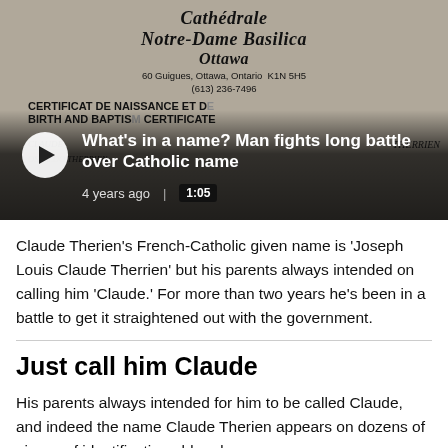[Figure (screenshot): Video thumbnail showing a Catholic baptism/birth certificate from Notre-Dame Basilica, Ottawa. The document text reads 'Cathédrale Notre-Dame Basilica Ottawa', '60 Guigues, Ottawa, Ontario K1N 5H5', '(613) 236-7496', 'CERTIFICAT DE NAISSANCE ET DE... BIRTH AND BAPTIS... CERTIFICATE'. Names visible include 'CLAUDE THERRIEN' and 'OSVALDO THERRIEN'. A play button overlay and video title 'What's in a name? Man fights long battle over Catholic name' with timestamp '4 years ago | 1:05'.]
Claude Therien's French-Catholic given name is 'Joseph Louis Claude Therrien' but his parents always intended on calling him 'Claude.' For more than two years he's been in a battle to get it straightened out with the government.
Just call him Claude
His parents always intended for him to be called Claude, and indeed the name Claude Therien appears on dozens of pieces of identification old and new.